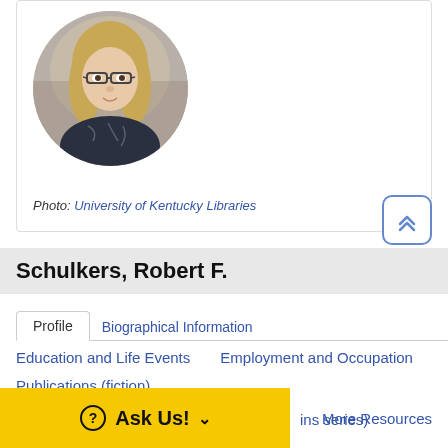[Figure (photo): Portrait photo of a woman with glasses and long blonde hair, wearing a dark patterned top, in a library setting, displayed in a circular crop]
Photo: University of Kentucky Libraries
Schulkers, Robert F.
Profile | Biographical Information
Education and Life Events
Employment and Occupation
Publications (fiction)
ins series)
More Resources
Ask Us!